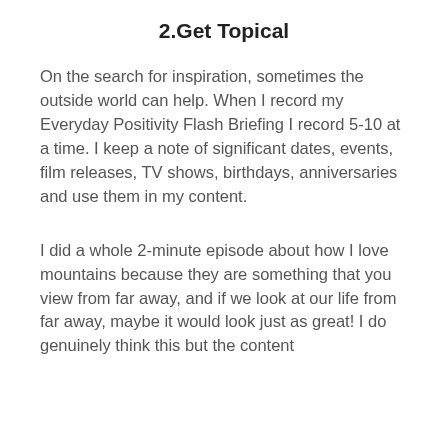2.Get Topical
On the search for inspiration, sometimes the outside world can help. When I record my Everyday Positivity Flash Briefing I record 5-10 at a time. I keep a note of significant dates, events, film releases, TV shows, birthdays, anniversaries and use them in my content.
I did a whole 2-minute episode about how I love mountains because they are something that you view from far away, and if we look at our life from far away, maybe it would look just as great! I do genuinely think this but the content